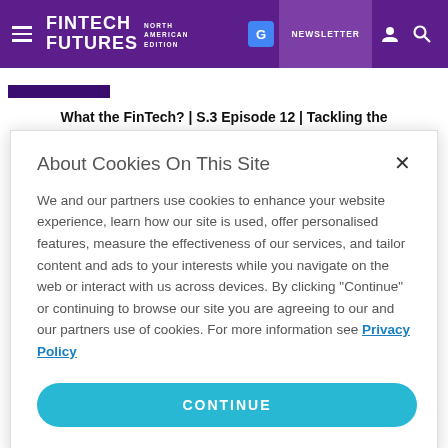FINTECH FUTURES NORTH AMERICAN EDITION | NEWSLETTER
What the FinTech? | S.3 Episode 12 | Tackling the challenges for challenger banks
About Cookies On This Site
We and our partners use cookies to enhance your website experience, learn how our site is used, offer personalised features, measure the effectiveness of our services, and tailor content and ads to your interests while you navigate on the web or interact with us across devices. By clicking "Continue" or continuing to browse our site you are agreeing to our and our partners use of cookies. For more information see Privacy Policy